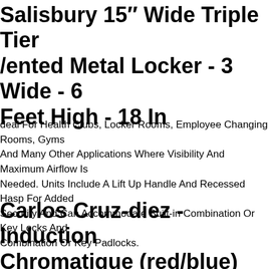Salisbury 15" Wide Triple Tier Vented Metal Locker - 3 Wide - 6 Feet High - 18 In
Ideal For Health Clubs, Locker Rooms, Employee Changing Rooms, Gyms And Many Other Applications Where Visibility And Maximum Airflow Is Needed. Units Include A Lift Up Handle And Recessed Hasp For Added Security And Can Accommodate Built-in Combination Or Key Locks And Combination Or Key Padlocks.
Carlos Cruz-diez - Induction Chromatique (red/blue) 1979
Induction Chromatique. Carlos Cruz-diez. Artwork In Excellent Condition. Size 30 X 30 In 76 X 76 Cm.
Csa Ski & Snowboard Base Tuning Machine Winter Sport Made In